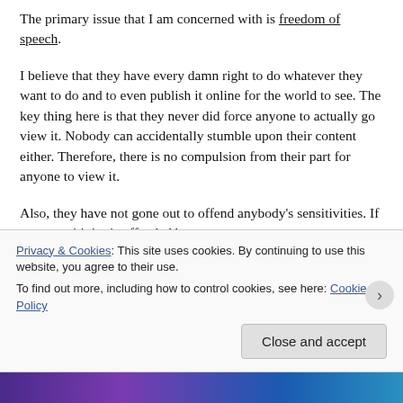The primary issue that I am concerned with is freedom of speech.
I believe that they have every damn right to do whatever they want to do and to even publish it online for the world to see. The key thing here is that they never did force anyone to actually go view it. Nobody can accidentally stumble upon their content either. Therefore, there is no compulsion from their part for anyone to view it.
Also, they have not gone out to offend anybody's sensitivities. If your sensitivity is offended by
Privacy & Cookies: This site uses cookies. By continuing to use this website, you agree to their use.
To find out more, including how to control cookies, see here: Cookie Policy
Close and accept